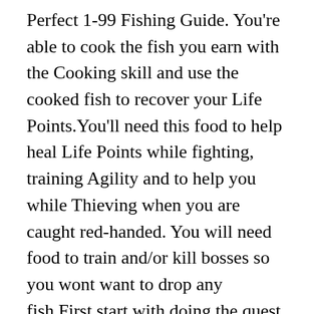Perfect 1-99 Fishing Guide. You're able to cook the fish you earn with the Cooking skill and use the cooked fish to recover your Life Points.You'll need this food to help heal Life Points while fighting, training Agility and to help you while Thieving when you are caught red-handed. You will need food to train and/or kill bosses so you wont want to drop any fish.First start with doing the quest “Rock Slug” witch will get you from level 1 to over level 20 fishing. Fishing. The main tool that you will be using while training your Woodcutting skill is a hatchet. Fishing can be a life-saving skill to raise. Content for this article was inspired by Theoatrix OSRS's video. but either of them